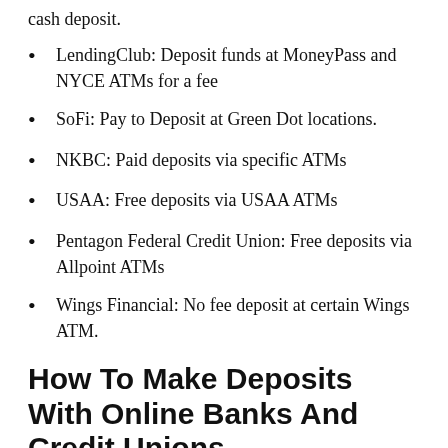cash deposit.
LendingClub: Deposit funds at MoneyPass and NYCE ATMs for a fee
SoFi: Pay to Deposit at Green Dot locations.
NKBC: Paid deposits via specific ATMs
USAA: Free deposits via USAA ATMs
Pentagon Federal Credit Union: Free deposits via Allpoint ATMs
Wings Financial: No fee deposit at certain Wings ATM.
How To Make Deposits With Online Banks And Credit Unions.
From our list of online banks and credit unions, there